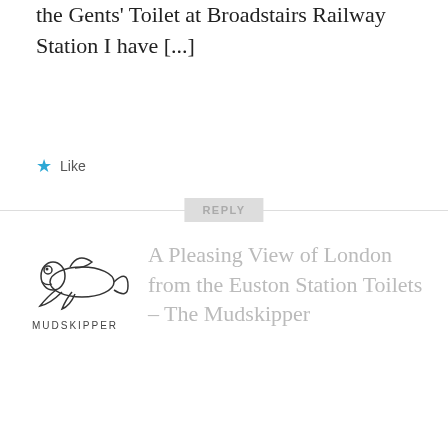the Gents' Toilet at Broadstairs Railway Station I have [...]
★ Like
REPLY
A Pleasing View of London from the Euston Station Toilets – The Mudskipper
JANUARY 8, 2018 AT 1:38 PM
[...] started when I worked out the probability of encountering a neighbour-free urinal at my workplace; it continued when I stumbled upon